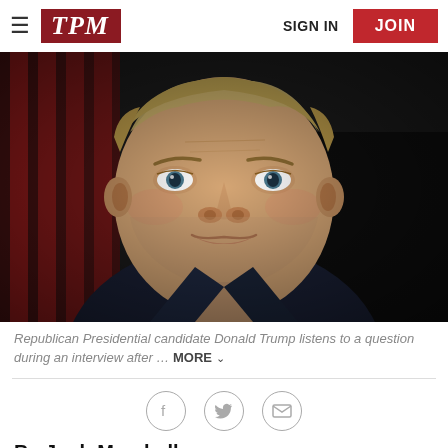TPM | SIGN IN | JOIN
[Figure (photo): Close-up portrait of Donald Trump in a dark suit and red tie, with an American flag partially visible in the background. He is looking directly at the camera with a serious expression.]
Republican Presidential candidate Donald Trump listens to a question during an interview after … MORE
By Josh Marshall